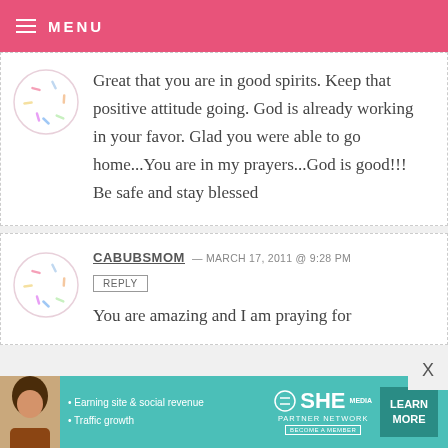≡ MENU
Great that you are in good spirits. Keep that positive attitude going. God is already working in your favor. Glad you were able to go home...You are in my prayers...God is good!!! Be safe and stay blessed
CABUBSMOM — MARCH 17, 2011 @ 9:28 PM
REPLY
You are amazing and I am praying for
[Figure (other): SHE Partner Network advertisement banner with photo of woman and learn more button]